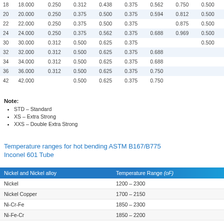| 18 | 18.000 | 0.250 | 0.312 | 0.438 | 0.375 | 0.562 | 0.750 | 0.500 |
| 20 | 20.000 | 0.250 | 0.375 | 0.500 | 0.375 | 0.594 | 0.812 | 0.500 |
| 22 | 22.000 | 0.250 | 0.375 | 0.500 | 0.375 |  | 0.875 | 0.500 |
| 24 | 24.000 | 0.250 | 0.375 | 0.562 | 0.375 | 0.688 | 0.969 | 0.500 |
| 30 | 30.000 | 0.312 | 0.500 | 0.625 | 0.375 |  |  | 0.500 |
| 32 | 32.000 | 0.312 | 0.500 | 0.625 | 0.375 | 0.688 |  |  |
| 34 | 34.000 | 0.312 | 0.500 | 0.625 | 0.375 | 0.688 |  |  |
| 36 | 36.000 | 0.312 | 0.500 | 0.625 | 0.375 | 0.750 |  |  |
| 42 | 42.000 |  | 0.500 | 0.625 | 0.375 | 0.750 |  |  |
Note:
STD – Standard
XS – Extra Strong
XXS – Double Extra Strong
Temperature ranges for hot bending ASTM B167/B775 Inconel 601 Tube
| Nickel and Nickel alloy | Temperature Range (oF) |
| --- | --- |
| Nickel | 1200 – 2300 |
| Nickel Copper | 1700 – 2150 |
| Ni-Cr-Fe | 1850 – 2300 |
| Ni-Fe-Cr | 1850 – 2200 |